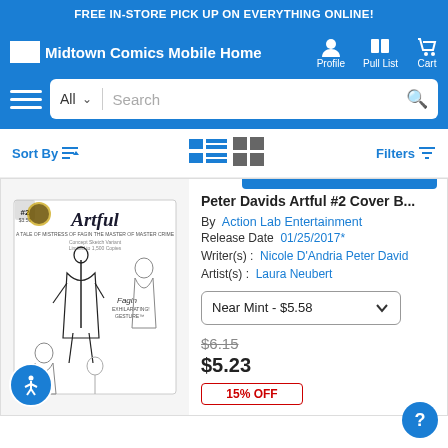FREE IN-STORE PICK UP ON EVERYTHING ONLINE!
Midtown Comics Mobile Home  Profile  Pull List  Cart
All  Search
Sort By  Filters
Peter Davids Artful #2 Cover B...
By  Action Lab Entertainment
Release Date  01/25/2017*
Writer(s) :  Nicole D'Andria Peter David  Artist(s) :  Laura Neubert
Near Mint - $5.58
$6.15
$5.23
15% OFF